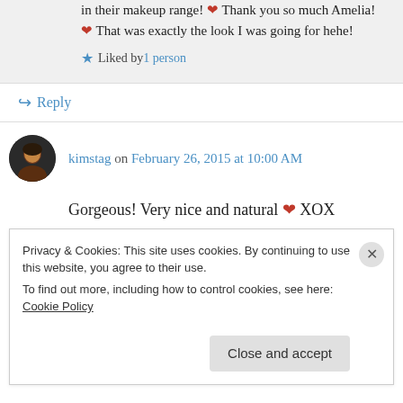in their makeup range! ❤ Thank you so much Amelia! ❤ That was exactly the look I was going for hehe!
★ Liked by 1 person
↳ Reply
kimstag on February 26, 2015 at 10:00 AM
Gorgeous! Very nice and natural ❤ XOX
★ Liked by 1 person
Privacy & Cookies: This site uses cookies. By continuing to use this website, you agree to their use. To find out more, including how to control cookies, see here: Cookie Policy
Close and accept